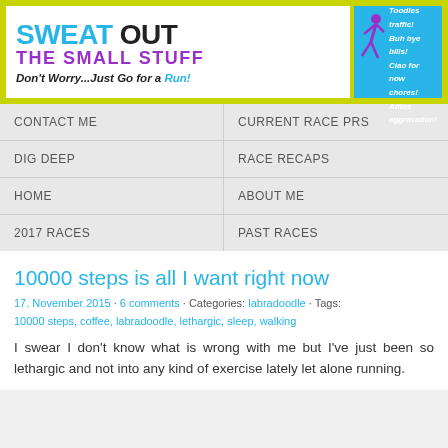[Figure (illustration): Blog header banner: 'Sweat Out the Small Stuff – Don't Worry...Just Go for a Run!' with a purple running figure on cyan background and motivational slogans]
CONTACT ME
CURRENT RACE PRS
DIG DEEP
RACE RECAPS
HOME
ABOUT ME
2017 RACES
PAST RACES
10000 steps is all I want right now
17. November 2015 · 6 comments · Categories: labradoodle · Tags: 10000 steps, coffee, labradoodle, lethargic, sleep, walking
I swear I don't know what is wrong with me but I've just been so lethargic and not into any kind of exercise lately let alone running.